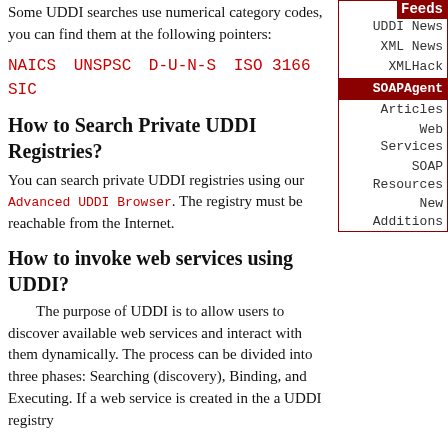Some UDDI searches use numerical category codes, you can find them at the following pointers:
NAICS   UNSPSC   D-U-N-S   ISO 3166   SIC
How to Search Private UDDI Registries?
You can search private UDDI registries using our Advanced UDDI Browser. The registry must be reachable from the Internet.
How to invoke web services using UDDI?
The purpose of UDDI is to allow users to discover available web services and interact with them dynamically. The process can be divided into three phases: Searching (discovery), Binding, and Executing. If a web service is created in the a UDDI registry
Feeds
UDDI News
XML News
XMLHack
SOAPAgent
Articles
Web Services
SOAP Resources
New Additions